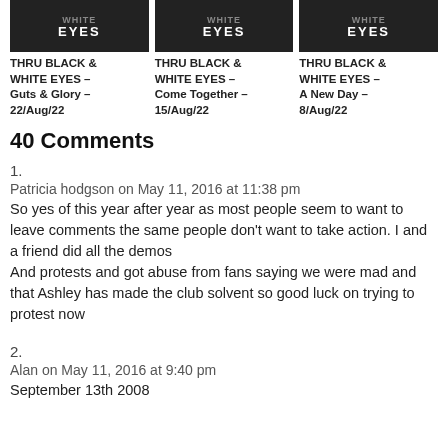[Figure (photo): Three book/article cover images with 'WHITE EYES' text on dark background]
THRU BLACK & WHITE EYES – Guts & Glory – 22/Aug/22
THRU BLACK & WHITE EYES – Come Together – 15/Aug/22
THRU BLACK & WHITE EYES – A New Day – 8/Aug/22
40 Comments
1.
Patricia hodgson on May 11, 2016 at 11:38 pm
So yes of this year after year as most people seem to want to leave comments the same people don't want to take action. I and a friend did all the demos And protests and got abuse from fans saying we were mad and that Ashley has made the club solvent so good luck on trying to protest now
2.
Alan on May 11, 2016 at 9:40 pm
September 13th 2008